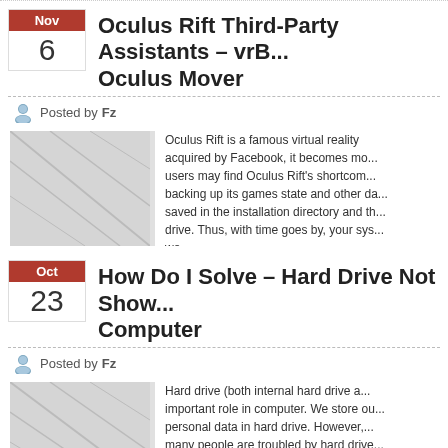Oculus Rift Third-Party Assistants – vrB... Oculus Mover
Posted by Fz
[Figure (photo): Placeholder image with diagonal lines for Oculus Rift article]
Oculus Rift is a famous virtual reality... acquired by Facebook, it becomes mo... users may find Oculus Rift's shortcom... backing up its games state and other da... saved in the installation directory and th... drive. Thus, with time goes by, your sys... we...
How Do I Solve – Hard Drive Not Show... Computer
Posted by Fz
[Figure (photo): Placeholder image with diagonal lines for Hard Drive article]
Hard drive (both internal hard drive a... important role in computer. We store ou... personal data in hard drive. However,... many people are troubled by hard drive... up in Windows Explorer. What should w...